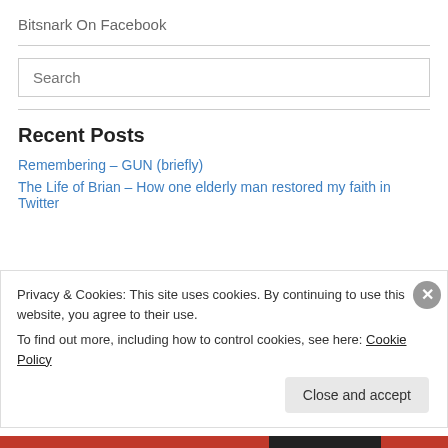Bitsnark On Facebook
Search
Recent Posts
Remembering – GUN (briefly)
The Life of Brian – How one elderly man restored my faith in Twitter
Privacy & Cookies: This site uses cookies. By continuing to use this website, you agree to their use.
To find out more, including how to control cookies, see here: Cookie Policy
Close and accept